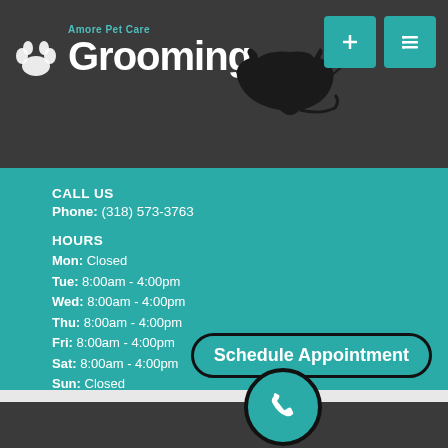Amore Pet Care Grooming
CALL US
Phone: (318) 573-3763
HOURS
Mon: Closed
Tue: 8:00am - 4:00pm
Wed: 8:00am - 4:00pm
Thu: 8:00am - 4:00pm
Fri: 8:00am - 4:00pm
Sat: 8:00am - 4:00pm
Sun: Closed
Schedule Appointment